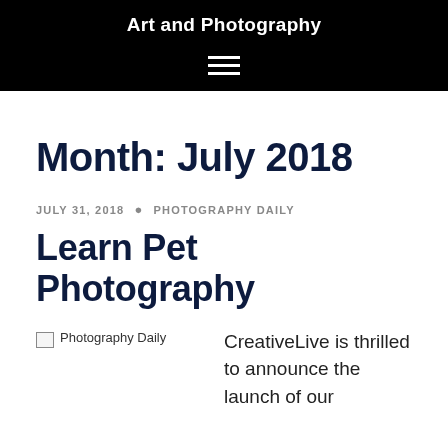Art and Photography
[Figure (other): Hamburger menu icon (three horizontal white lines on black background)]
Month: July 2018
JULY 31, 2018 · PHOTOGRAPHY DAILY
Learn Pet Photography
[Figure (photo): Broken image placeholder labeled 'Photography Daily']
CreativeLive is thrilled to announce the launch of our